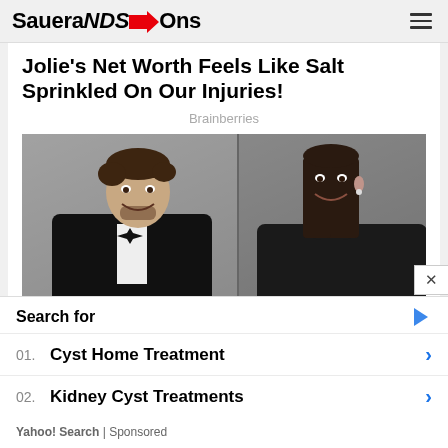SaueraNDS→Ons
Jolie's Net Worth Feels Like Salt Sprinkled On Our Injuries!
Brainberries
[Figure (photo): A man in a tuxedo and a woman in a black turtleneck posing together at a formal event]
Bradley Cooper's Dating History: A Brief Look Back At His Exes
Search for
01. Cyst Home Treatment
02. Kidney Cyst Treatments
Yahoo! Search | Sponsored